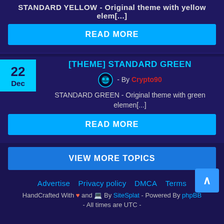STANDARD YELLOW - Original theme with yellow elem[...]
READ MORE
[THEME] STANDARD GREEN
22 Dec
- By Crypto90
STANDARD GREEN - Original theme with green elemen[...]
READ MORE
VIEW MORE TOPICS
Advertise  Privacy policy  DMCA  Terms
HandCrafted With ♥ and 💻 By SiteSplat - Powered By phpBB
- All times are UTC -